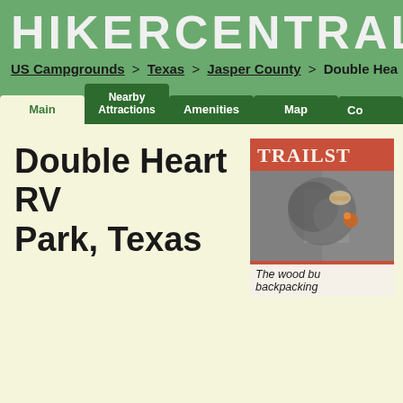HIKERCENTRAL
US Campgrounds > Texas > Jasper County > Double Hea
Main | Nearby Attractions | Amenities | Map | Co...
Double Heart RV Park, Texas
[Figure (photo): TRAILST advertisement showing a wood burning backpacking stove with moss/lichen, partially cropped. Caption reads: The wood bu... backpacking...]
The wood bu backpacking